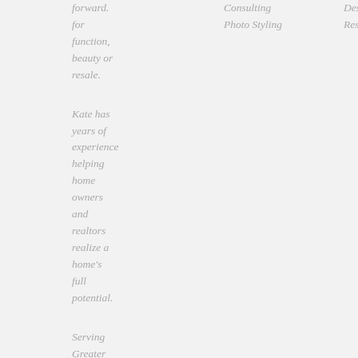forward. for function, beauty or resale.
Consulting Photo Styling
Designs All Rights Reserved.
Kate has years of experience helping home owners and realtors realize a home's full potential.
Serving Greater Portland, Mid-Coast and